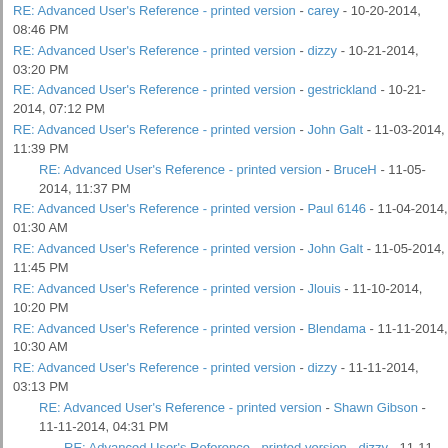RE: Advanced User's Reference - printed version - carey - 10-20-2014, 08:46 PM
RE: Advanced User's Reference - printed version - dizzy - 10-21-2014, 03:20 PM
RE: Advanced User's Reference - printed version - gestrickland - 10-21-2014, 07:12 PM
RE: Advanced User's Reference - printed version - John Galt - 11-03-2014, 11:39 PM
RE: Advanced User's Reference - printed version - BruceH - 11-05-2014, 11:37 PM
RE: Advanced User's Reference - printed version - Paul 6146 - 11-04-2014, 01:30 AM
RE: Advanced User's Reference - printed version - John Galt - 11-05-2014, 11:45 PM
RE: Advanced User's Reference - printed version - Jlouis - 11-10-2014, 10:20 PM
RE: Advanced User's Reference - printed version - Blendama - 11-11-2014, 10:30 AM
RE: Advanced User's Reference - printed version - dizzy - 11-11-2014, 03:13 PM
RE: Advanced User's Reference - printed version - Shawn Gibson - 11-11-2014, 04:31 PM
RE: Advanced User's Reference - printed version - dizzy - 11-11-2014, 04:59 PM
RE: Advanced User's Reference - printed version - Thomas_Sch - 11-12-2014, 01:40 PM
RE: Advanced User's Reference - printed version - PMaier - 11-18-...